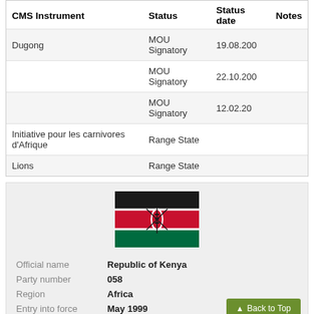| CMS Instrument | Status | Status date | Notes |
| --- | --- | --- | --- |
| Dugong | MOU Signatory | 19.08.200 |  |
|  | MOU Signatory | 22.10.200 |  |
|  | MOU Signatory | 12.02.20 |  |
| Initiative pour les carnivores d'Afrique | Range State |  |  |
| Lions | Range State |  |  |
[Figure (illustration): Flag of Kenya: horizontal tricolor of black, red, and green with a Maasai shield and two crossed spears in the center]
Official name: Republic of Kenya
Party number: 058
Region: Africa
Entry into force: May 1999